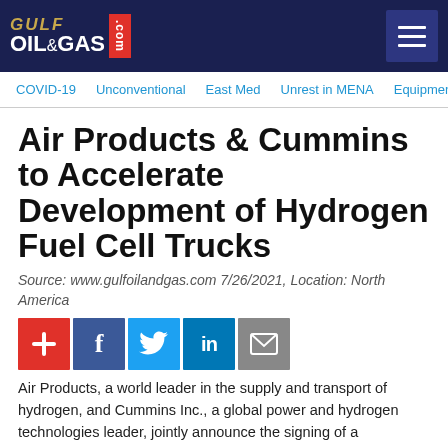GULF OIL & GAS .com
COVID-19   Unconventional   East Med   Unrest in MENA   Equipment
Air Products & Cummins to Accelerate Development of Hydrogen Fuel Cell Trucks
Source: www.gulfoilandgas.com 7/26/2021, Location: North America
Air Products, a world leader in the supply and transport of hydrogen, and Cummins Inc., a global power and hydrogen technologies leader, jointly announce the signing of a memorandum of understanding (MOU) to work